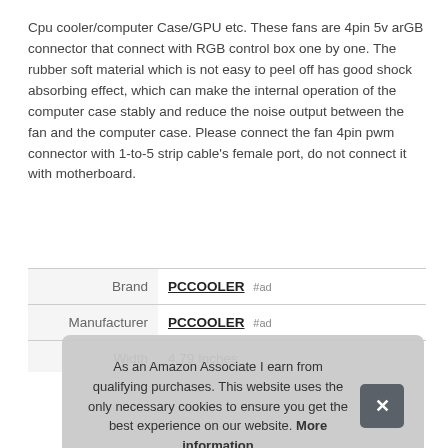Cpu cooler/computer Case/GPU etc. These fans are 4pin 5v arGB connector that connect with RGB control box one by one. The rubber soft material which is not easy to peel off has good shock absorbing effect, which can make the internal operation of the computer case stably and reduce the noise output between the fan and the computer case. Please connect the fan 4pin pwm connector with 1-to-5 strip cable's female port, do not connect it with motherboard.
|  |  |
| --- | --- |
| Brand | PCCOOLER #ad |
| Manufacturer | PCCOOLER #ad |
| Width | 4.79 Inches |
As an Amazon Associate I earn from qualifying purchases. This website uses the only necessary cookies to ensure you get the best experience on our website. More information